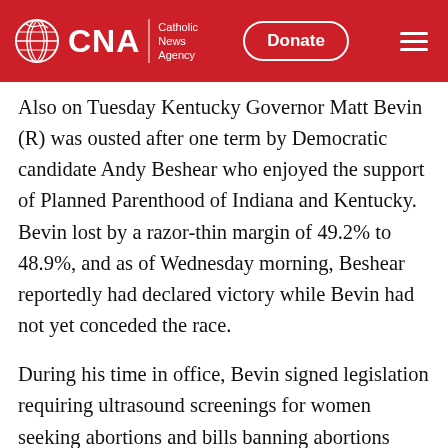CNA | Catholic News Agency — Donate | Menu
Also on Tuesday Kentucky Governor Matt Bevin (R) was ousted after one term by Democratic candidate Andy Beshear who enjoyed the support of Planned Parenthood of Indiana and Kentucky. Bevin lost by a razor-thin margin of 49.2% to 48.9%, and as of Wednesday morning, Beshear reportedly had declared victory while Bevin had not yet conceded the race.
During his time in office, Bevin signed legislation requiring ultrasound screenings for women seeking abortions and bills banning abortions after 19 weeks, after a baby's heartbeat is detected, if Roe v. Wade is overturned, and